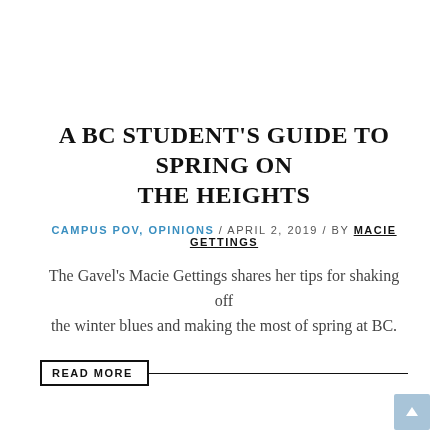A BC STUDENT'S GUIDE TO SPRING ON THE HEIGHTS
CAMPUS POV, OPINIONS / APRIL 2, 2019 / BY MACIE GETTINGS
The Gavel's Macie Gettings shares her tips for shaking off the winter blues and making the most of spring at BC.
READ MORE